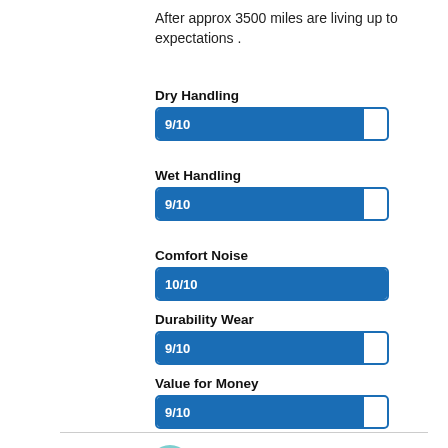After approx 3500 miles are living up to expectations .
[Figure (bar-chart): Dry Handling]
[Figure (bar-chart): Wet Handling]
[Figure (bar-chart): Comfort Noise]
[Figure (bar-chart): Durability Wear]
[Figure (bar-chart): Value for Money]
IS ★★★★★
16/11/2020
HYUNDAI I30